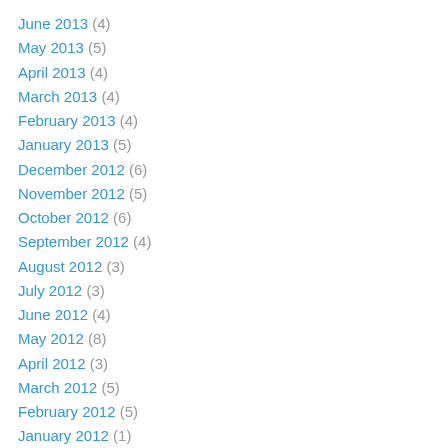June 2013 (4)
May 2013 (5)
April 2013 (4)
March 2013 (4)
February 2013 (4)
January 2013 (5)
December 2012 (6)
November 2012 (5)
October 2012 (6)
September 2012 (4)
August 2012 (3)
July 2012 (3)
June 2012 (4)
May 2012 (8)
April 2012 (3)
March 2012 (5)
February 2012 (5)
January 2012 (1)